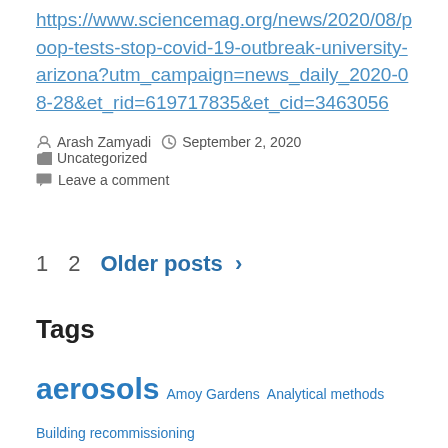https://www.sciencemag.org/news/2020/08/poop-tests-stop-covid-19-outbreak-university-arizona?utm_campaign=news_daily_2020-08-28&et_rid=619717835&et_cid=3463056
Posted by Arash Zamyadi   September 2, 2020   Uncategorized   Leave a comment
1   2   Older posts >
Tags
aerosols  Amoy Gardens  Analytical methods  Building recommissioning  Chlorination  chlorine dioxide  DALYs  disinfectants  Disinfection  Drainage